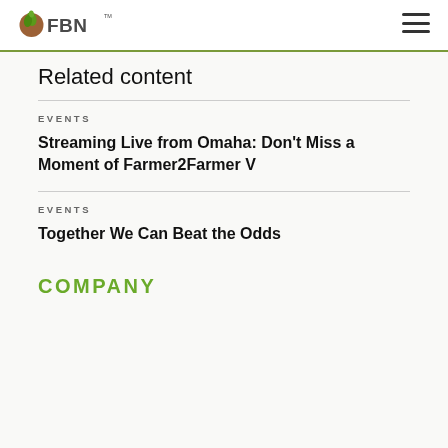FBN
Related content
EVENTS
Streaming Live from Omaha: Don't Miss a Moment of Farmer2Farmer V
EVENTS
Together We Can Beat the Odds
COMPANY